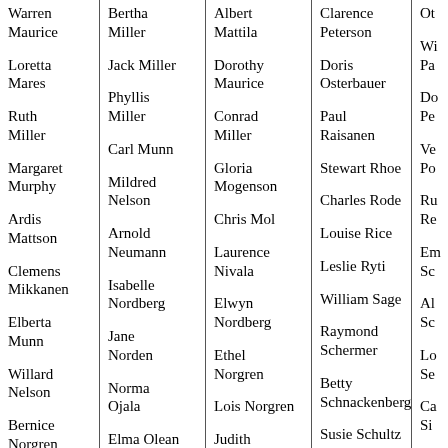Warren Maurice
Loretta Mares
Ruth Miller
Margaret Murphy
Ardis Mattson
Clemens Mikkanen
Elberta Munn
Willard Nelson
Bernice Norgren
Bertha Miller
Jack Miller
Phyllis Miller
Carl Munn
Mildred Nelson
Arnold Neumann
Isabelle Nordberg
Jane Norden
Norma Ojala
Elma Olean
Albert Mattila
Dorothy Maurice
Conrad Miller
Gloria Mogenson
Chris Mol
Laurence Nivala
Elwyn Nordberg
Ethel Norgren
Lois Norgren
Judith
Clarence Peterson
Doris Osterbauer
Paul Raisanen
Stewart Rhoe
Charles Rode
Louise Rice
Leslie Ryti
William Sage
Raymond Schermer
Betty Schnackenberg
Susie Schultz
Ot...
Wi... Pa...
Do... Pe...
Ve... Po...
Ru... Re...
Em... Sc...
Al... Sc...
Lo... Se...
Ca... Si...